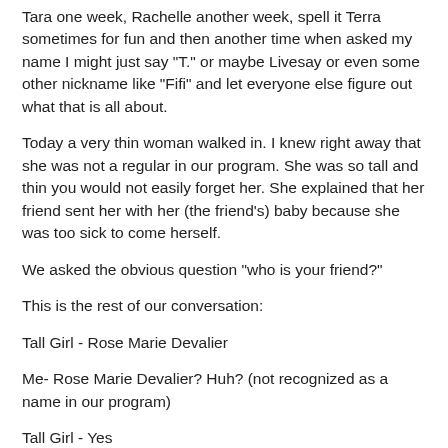Tara one week, Rachelle another week, spell it Terra sometimes for fun and then another time when asked my name I might just say "T." or maybe Livesay or even some other nickname like "Fifi" and let everyone else figure out what that is all about.
Today a very thin woman walked in. I knew right away that she was not a regular in our program. She was so tall and thin you would not easily forget her. She explained that her friend sent her with her (the friend's) baby because she was too sick to come herself.
We asked the obvious question "who is your friend?"
This is the rest of our conversation:
Tall Girl - Rose Marie Devalier
Me- Rose Marie Devalier? Huh? (not recognized as a name in our program)
Tall Girl - Yes